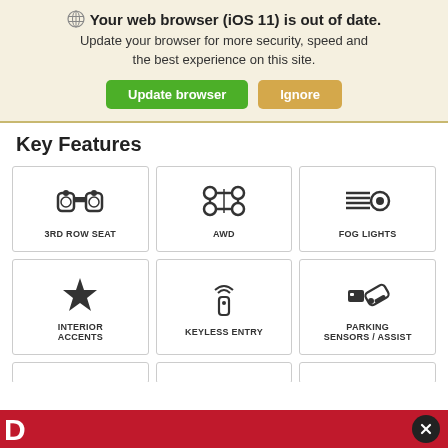Your web browser (iOS 11) is out of date. Update your browser for more security, speed and the best experience on this site.
[Figure (screenshot): Browser update notification banner with Update browser (green) and Ignore (orange) buttons]
Key Features
[Figure (infographic): 3RD ROW SEAT feature card with binoculars icon]
[Figure (infographic): AWD feature card with 4-wheel drive icon]
[Figure (infographic): FOG LIGHTS feature card with fog light icon]
[Figure (infographic): INTERIOR ACCENTS feature card with star icon]
[Figure (infographic): KEYLESS ENTRY feature card with key fob icon]
[Figure (infographic): PARKING SENSORS / ASSIST feature card with parking sensor icon]